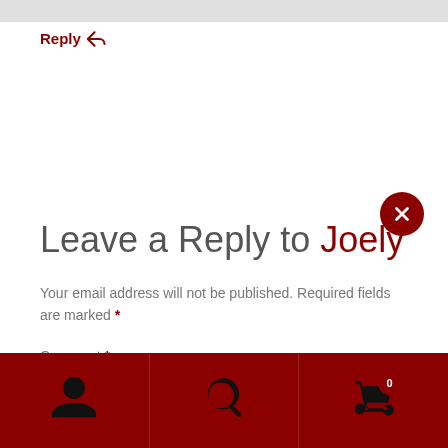Reply ↩
Leave a Reply to Joely
Your email address will not be published. Required fields are marked *
Comment *